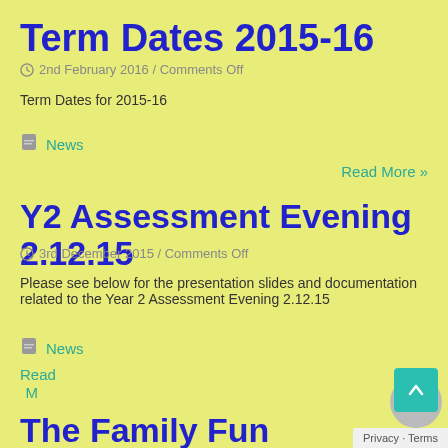Term Dates 2015-16
2nd February 2016 / Comments Off
Term Dates for 2015-16
News
Read More »
Y2 Assessment Evening 2.12.15
3rd December 2015 / Comments Off
Please see below for the presentation slides and documentation related to the Year 2 Assessment Evening 2.12.15
News
Read More »
The Family Fun Afternoon was